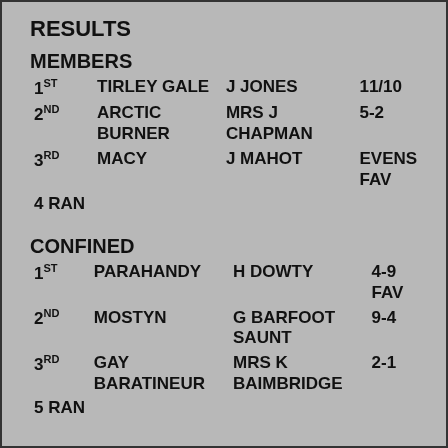RESULTS
MEMBERS
| Place | Horse | Jockey | Odds |
| --- | --- | --- | --- |
| 1ST | TIRLEY GALE | J JONES | 11/10 |
| 2ND | ARCTIC BURNER | MRS J CHAPMAN | 5-2 |
| 3RD | MACY | J MAHOT | EVENS FAV |
| 4 RAN |  |  |  |
CONFINED
| Place | Horse | Jockey | Odds |
| --- | --- | --- | --- |
| 1ST | PARAHANDY | H DOWTY | 4-9 FAV |
| 2ND | MOSTYN | G BARFOOT SAUNT | 9-4 |
| 3RD | GAY BARATINEUR | MRS K BAIMBRIDGE | 2-1 |
| 5 RAN |  |  |  |